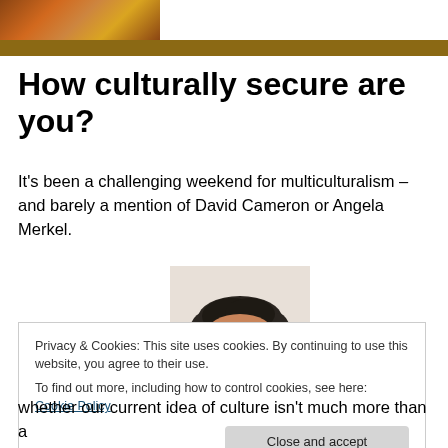[Figure (photo): Header image showing warm brown/orange textured background, partial view]
How culturally secure are you?
It's been a challenging weekend for multiculturalism – and barely a mention of David Cameron or Angela Merkel.
[Figure (photo): Headshot of a middle-aged man with dark curly hair, slight smile, wearing dark clothing]
Privacy & Cookies: This site uses cookies. By continuing to use this website, you agree to their use.
To find out more, including how to control cookies, see here: Cookie Policy
Close and accept
whether our current idea of culture isn't much more than a